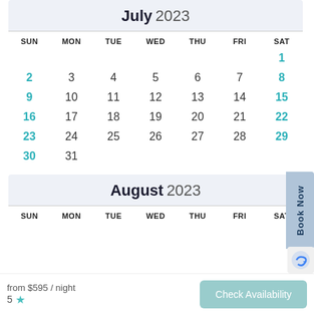July 2023
| SUN | MON | TUE | WED | THU | FRI | SAT |
| --- | --- | --- | --- | --- | --- | --- |
|  |  |  |  |  |  | 1 |
| 2 | 3 | 4 | 5 | 6 | 7 | 8 |
| 9 | 10 | 11 | 12 | 13 | 14 | 15 |
| 16 | 17 | 18 | 19 | 20 | 21 | 22 |
| 23 | 24 | 25 | 26 | 27 | 28 | 29 |
| 30 | 31 |  |  |  |  |  |
August 2023
| SUN | MON | TUE | WED | THU | FRI | SAT |
| --- | --- | --- | --- | --- | --- | --- |
from $595 / night
5 ★
Check Availability